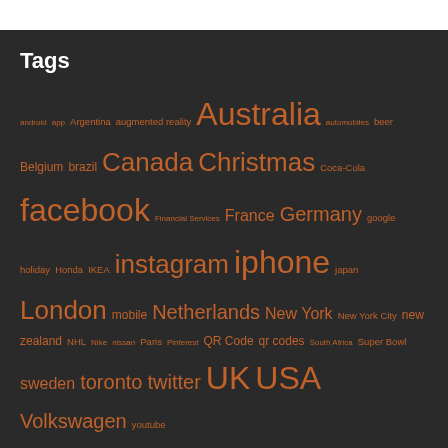Tags
android app Argentina augmented reality Australia automobiles beer Belgium brazil Canada Christmas Coca-Cola facebook Financial Services France Germany google holiday Honda IKEA instagram iphone japan London mobile Netherlands New York New York City new zealand NHL Nike nissan Paris Pinterest QR Code qr codes South Africa Super Bowl sweden toronto twitter UK USA Volkswagen youtube
Return to top of page
Copyright © 2022 · eleven40 theme on Genesis Framework · WordPress · Log in